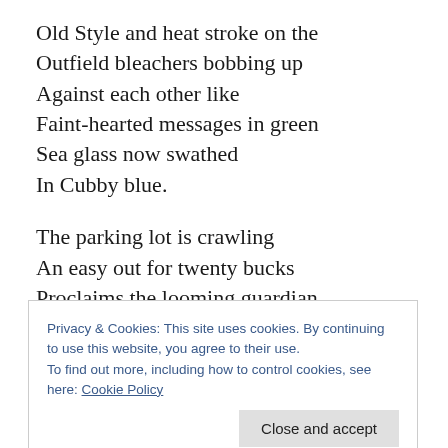Old Style and heat stroke on the
Outfield bleachers bobbing up
Against each other like
Faint-hearted messages in green
Sea glass now swathed
In Cubby blue.

The parking lot is crawling
An easy out for twenty bucks
Proclaims the looming guardian
Dreadlocked and baleful
Privacy & Cookies: This site uses cookies. By continuing to use this website, you agree to their use.
To find out more, including how to control cookies, see here: Cookie Policy
[Close and accept]
Inside the bar the band is